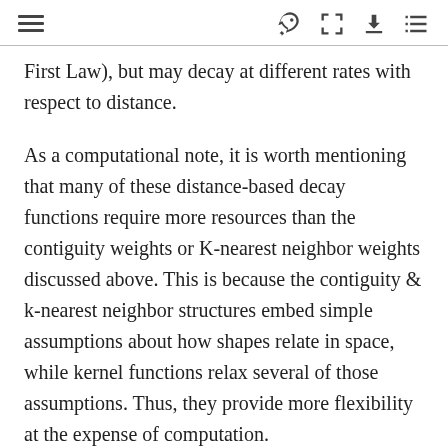[navigation toolbar with menu, rocket, fullscreen, download, and list icons]
First Law), but may decay at different rates with respect to distance.
As a computational note, it is worth mentioning that many of these distance-based decay functions require more resources than the contiguity weights or K-nearest neighbor weights discussed above. This is because the contiguity & k-nearest neighbor structures embed simple assumptions about how shapes relate in space, while kernel functions relax several of those assumptions. Thus, they provide more flexibility at the expense of computation.